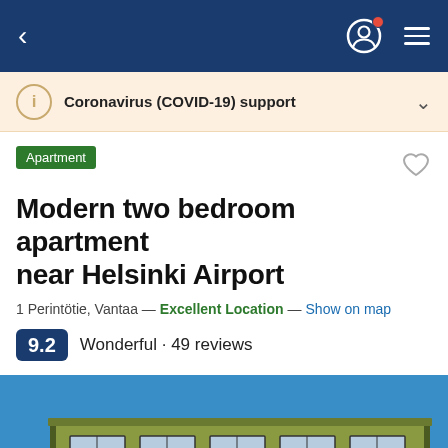Navigation bar with back arrow, profile icon, and hamburger menu
Coronavirus (COVID-19) support
Apartment
Modern two bedroom apartment near Helsinki Airport
1 Perintötie, Vantaa — Excellent Location — Show on map
9.2 Wonderful · 49 reviews
[Figure (photo): Exterior photo of a modern multi-storey apartment building with yellow-green facade and large windows, under a clear blue sky]